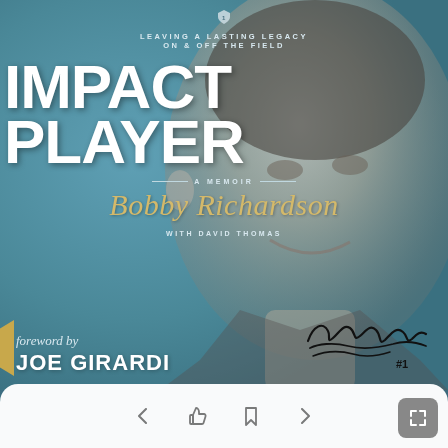[Figure (photo): Book cover of 'Impact Player: A Memoir' by Bobby Richardson with foreword by Joe Girardi. Features a close-up black and white photo of Bobby Richardson smiling, set against a teal/blue background. Includes the author's handwritten signature 'Bobby Richardson #1' at the bottom right.]
IMPACT PLAYER
LEAVING A LASTING LEGACY ON & OFF THE FIELD
A MEMOIR
Bobby Richardson
WITH DAVID THOMAS
foreword by JOE GIRARDI